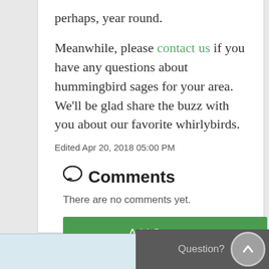perhaps, year round.
Meanwhile, please contact us if you have any questions about hummingbird sages for your area. We'll be glad share the buzz with you about our favorite whirlybirds.
Edited Apr 20, 2018 05:00 PM
Comments
There are no comments yet.
Add Comment